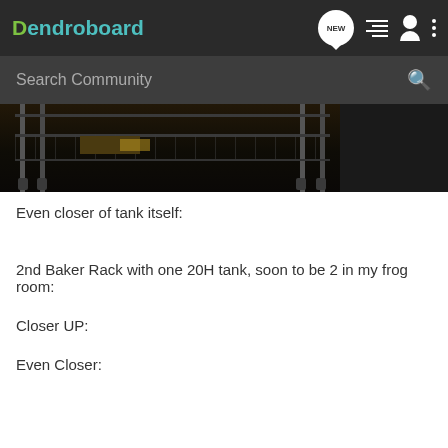Dendroboard
[Figure (screenshot): Search Community bar on dark background]
[Figure (photo): Close-up photo of a metal baker rack/shelving unit in a dark room, showing metal wire shelves, vertical posts, and wheels at the bottom]
Even closer of tank itself:
2nd Baker Rack with one 20H tank, soon to be 2 in my frog room:
Closer UP:
Even Closer: